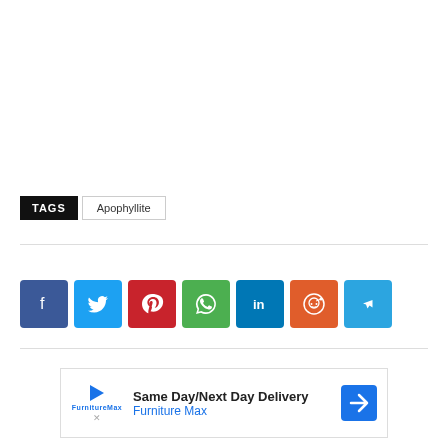TAGS  Apophyllite
[Figure (infographic): Social sharing buttons row: Facebook (blue), Twitter (light blue), Pinterest (red), WhatsApp (green), LinkedIn (dark blue), Reddit (orange), Telegram (blue)]
[Figure (infographic): Advertisement banner: Same Day/Next Day Delivery - Furniture Max, with navigation arrow icon]